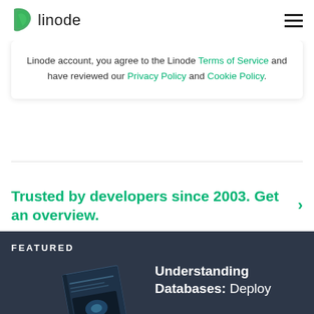linode
Linode account, you agree to the Linode Terms of Service and have reviewed our Privacy Policy and Cookie Policy.
Trusted by developers since 2003. Get an overview. ›
FEATURED
Understanding Databases: Deploy